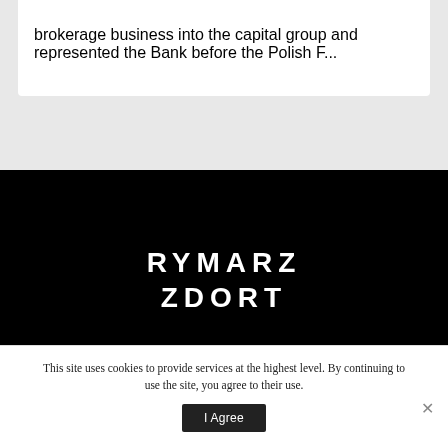brokerage business into the capital group and represented the Bank before the Polish F...
[Figure (logo): Rymarz Zdort law firm logo — two lines of large bold white uppercase letters on black background: RYMARZ / ZDORT]
This site uses cookies to provide services at the highest level. By continuing to use the site, you agree to their use.
I Agree